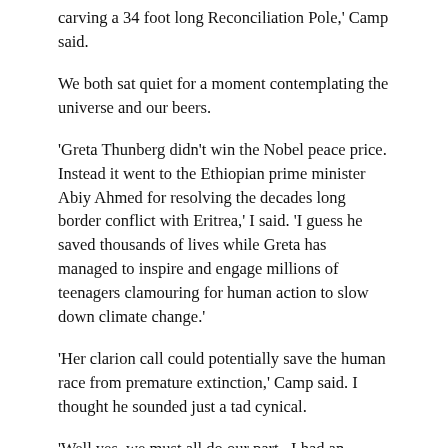carving a 34 foot long Reconciliation Pole,' Camp said.
We both sat quiet for a moment contemplating the universe and our beers.
'Greta Thunberg didn't win the Nobel peace price. Instead it went to the Ethiopian prime minister Abiy Ahmed for resolving the decades long border conflict with Eritrea,' I said. 'I guess he saved thousands of lives while Greta has managed to inspire and engage millions of teenagers clamouring for human action to slow down climate change.'
'Her clarion call could potentially save the human race from premature extinction,' Camp said. I thought he sounded just a tad cynical.
'Well yes, we must all do our part.  I had an interesting conversation with our local dry cleaner, whose grandfather opened the business in 2014. According to him dry-cleaning is achieved with a synthetic chemical –